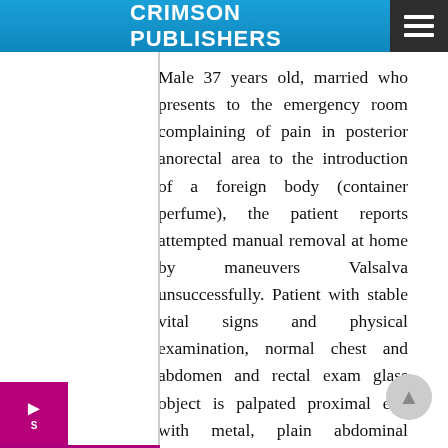CRIMSON PUBLISHERS
Male 37 years old, married who presents to the emergency room complaining of pain in posterior anorectal area to the introduction of a foreign body (container perfume), the patient reports attempted manual removal at home by maneuvers Valsalva unsuccessfully. Patient with stable vital signs and physical examination, normal chest and abdomen and rectal exam glass object is palpated proximal end with metal, plain abdominal radiography is requested where is evident the intraanal object (Figure 1). Laboratory test normal. Manual removal is attempted in